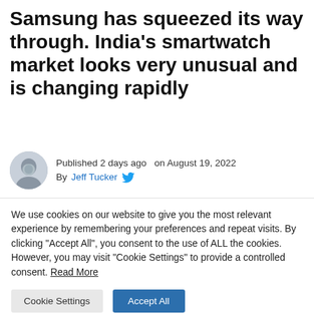Samsung has squeezed its way through. India's smartwatch market looks very unusual and is changing rapidly
Published 2 days ago  on August 19, 2022
By Jeff Tucker
[Figure (photo): Close-up photo of a black smartwatch band on a wooden surface with herringbone pattern]
We use cookies on our website to give you the most relevant experience by remembering your preferences and repeat visits. By clicking "Accept All", you consent to the use of ALL the cookies. However, you may visit "Cookie Settings" to provide a controlled consent. Read More
Cookie Settings   Accept All